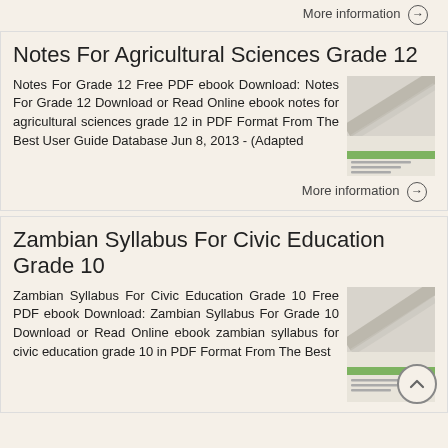More information →
Notes For Agricultural Sciences Grade 12
Notes For Grade 12 Free PDF ebook Download: Notes For Grade 12 Download or Read Online ebook notes for agricultural sciences grade 12 in PDF Format From The Best User Guide Database Jun 8, 2013 - (Adapted
More information →
Zambian Syllabus For Civic Education Grade 10
Zambian Syllabus For Civic Education Grade 10 Free PDF ebook Download: Zambian Syllabus For Grade 10 Download or Read Online ebook zambian syllabus for civic education grade 10 in PDF Format From The Best